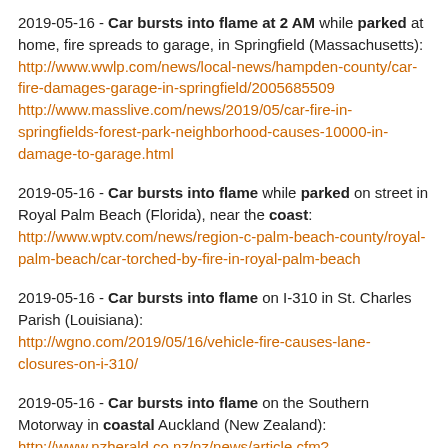2019-05-16 - Car bursts into flame at 2 AM while parked at home, fire spreads to garage, in Springfield (Massachusetts): http://www.wwlp.com/news/local-news/hampden-county/car-fire-damages-garage-in-springfield/2005685509 http://www.masslive.com/news/2019/05/car-fire-in-springfields-forest-park-neighborhood-causes-10000-in-damage-to-garage.html
2019-05-16 - Car bursts into flame while parked on street in Royal Palm Beach (Florida), near the coast: http://www.wptv.com/news/region-c-palm-beach-county/royal-palm-beach/car-torched-by-fire-in-royal-palm-beach
2019-05-16 - Car bursts into flame on I-310 in St. Charles Parish (Louisiana): http://wgno.com/2019/05/16/vehicle-fire-causes-lane-closures-on-i-310/
2019-05-16 - Car bursts into flame on the Southern Motorway in coastal Auckland (New Zealand): http://www.nzherald.co.nz/nz/news/article.cfm?